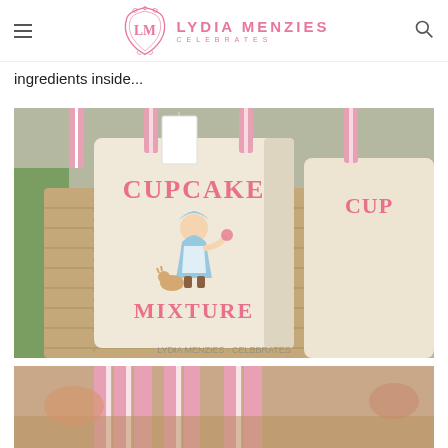Lydia Menzies Celebrates
ingredients inside...
[Figure (photo): Canvas tote bags printed with 'Cupcake Mixture' and a vintage girl illustration, sitting in a wicker basket with pink striped handles]
[Figure (photo): Bottom portion of another party photo showing pink striped items, partially cropped]